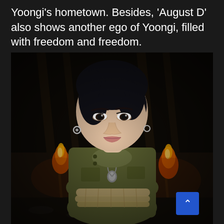Yoongi's hometown. Besides, 'August D' also shows another ego of Yoongi, filled with freedom and freedom.
[Figure (photo): A young Asian male with dark hair wearing a military-style olive green jacket with chains and a locket necklace, arms bound with rope at the waist, seated in a dark outdoor setting with torches burning in the background.]